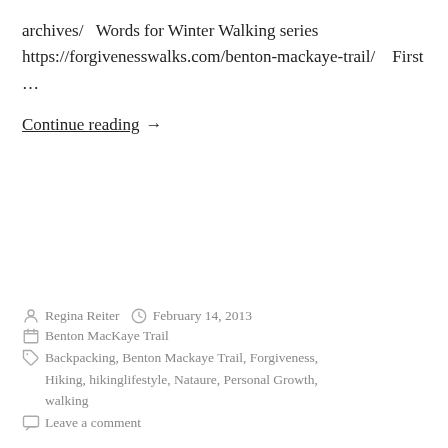archives/   Words for Winter Walking series https://forgivenesswalks.com/benton-mackaye-trail/    First …
Continue reading →
Regina Reiter   February 14, 2013
Benton MacKaye Trail
Backpacking, Benton Mackaye Trail, Forgiveness, Hiking, hikinglifestyle, Nataure, Personal Growth, walking
Leave a comment